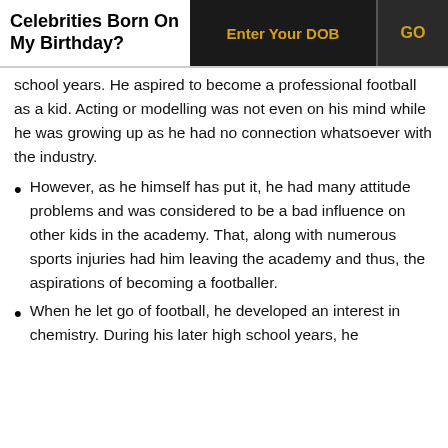Celebrities Born On My Birthday? | Enter Your DOB | GO
school years. He aspired to become a professional football as a kid. Acting or modelling was not even on his mind while he was growing up as he had no connection whatsoever with the industry.
However, as he himself has put it, he had many attitude problems and was considered to be a bad influence on other kids in the academy. That, along with numerous sports injuries had him leaving the academy and thus, the aspirations of becoming a footballer.
When he let go of football, he developed an interest in chemistry. During his later high school years, he